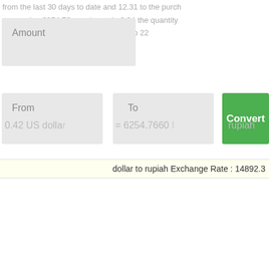conversion 6254.76 minuend +0.34 percent from the last 30 days to date 12.31 to 22
[Figure (screenshot): Currency converter UI with Amount input box, From dropdown, To dropdown, Convert button, and exchange rate display showing dollar to rupiah Exchange Rate : 14892.3]
dollar to rupiah Exchange Rate : 14892.3